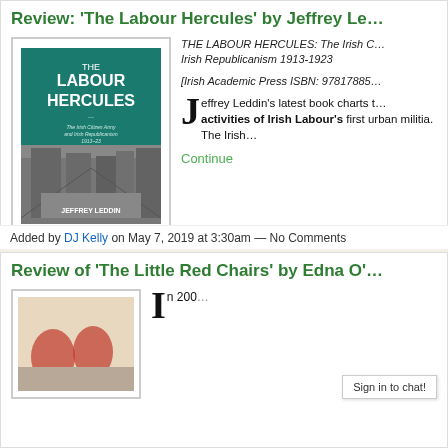Review: 'The Labour Hercules' by Jeffrey Le…
[Figure (photo): Book cover of 'The Labour Hercules: The Irish Citizen Army and Irish Republicanism 1913-23' by Jeffrey Leddin, teal/dark green cover with city street photo]
THE LABOUR HERCULES: The Irish C… Irish Republicanism 1913-1923
[Irish Academic Press ISBN: 97817885…
Jeffrey Leddin's latest book charts the activities of Irish Labour's first urban militia. The Irish…
Continue
Added by DJ Kelly on May 7, 2019 at 3:30am — No Comments
Review of 'The Little Red Chairs' by Edna O'…
In 200…
Sign in to chat!